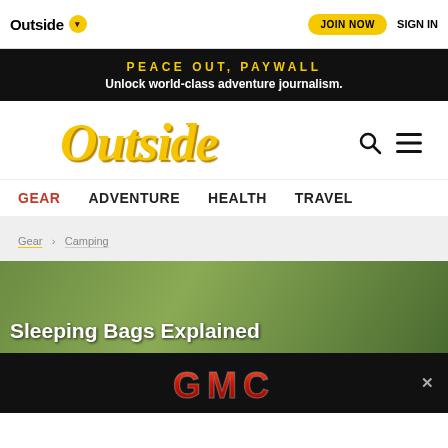Outside  JOIN NOW  SIGN IN
PEACE OUT, PAYWALL
Unlock world-class adventure journalism.
Outside
GEAR  ADVENTURE  HEALTH  TRAVEL
Gear › Camping
Sleeping Bags Explained
[Figure (logo): GMC brand logo advertisement banner on black background]